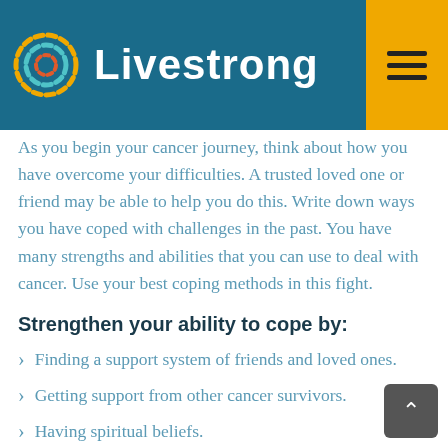Livestrong
As you begin your cancer journey, think about how you have overcome your difficulties. A trusted loved one or friend may be able to help you do this. Write down ways you have coped with challenges in the past. You have many strengths and abilities that you can use to deal with cancer. Use your best coping methods in this fight.
Strengthen your ability to cope by:
Finding a support system of friends and loved ones.
Getting support from other cancer survivors.
Having spiritual beliefs.